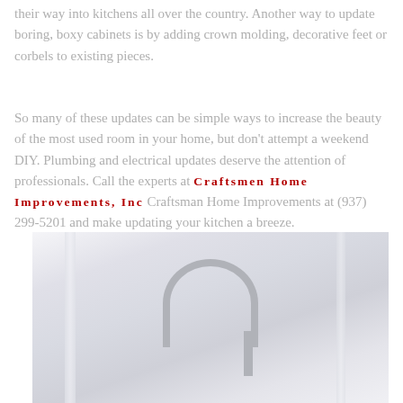their way into kitchens all over the country. Another way to update boring, boxy cabinets is by adding crown molding, decorative feet or corbels to existing pieces.
So many of these updates can be simple ways to increase the beauty of the most used room in your home, but don't attempt a weekend DIY. Plumbing and electrical updates deserve the attention of professionals. Call the experts at Craftsmen Home Improvements, Inc Craftsman Home Improvements at (937) 299-5201 and make updating your kitchen a breeze.
[Figure (photo): Photo of a kitchen sink area with a curved faucet, bright white and pale blue-grey tones, slightly washed out/overexposed image showing a modern kitchen setting]